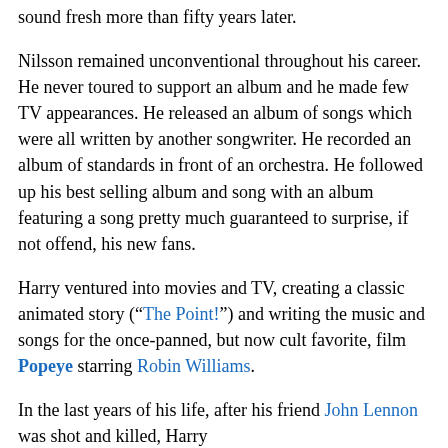sound fresh more than fifty years later.
Nilsson remained unconventional throughout his career. He never toured to support an album and he made few TV appearances. He released an album of songs which were all written by another songwriter. He recorded an album of standards in front of an orchestra. He followed up his best selling album and song with an album featuring a song pretty much guaranteed to surprise, if not offend, his new fans.
Harry ventured into movies and TV, creating a classic animated story (“The Point!”) and writing the music and songs for the once-panned, but now cult favorite, film Popeye starring Robin Williams.
In the last years of his life, after his friend John Lennon was shot and killed, Harry